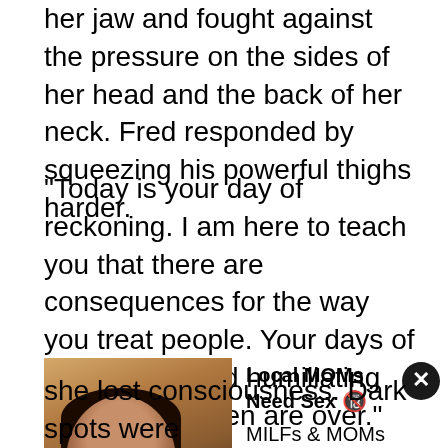her jaw and fought against the pressure on the sides of her head and the back of her neck. Fred responded by squeezing his powerful thighs harder.
"Today is your day of reckoning. I am here to teach you that there are consequences for the way you treat people. Your days of objectifying and humiliating young black men are over."
[Figure (photo): Advertisement banner showing a woman's photo on the left with text 'Local MOMs Need Sex' and 'MILFs & MOMs looking for discreet Sex 30+' with a close button]
she lost consciousness. Dark spots were